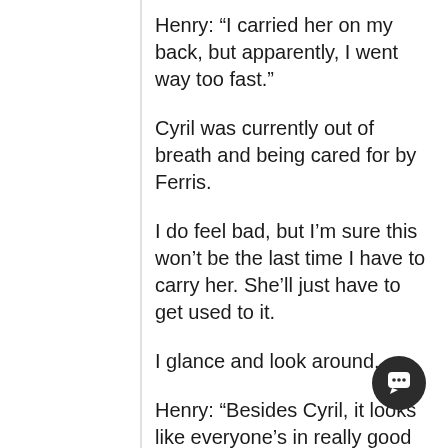Henry: “I carried her on my back, but apparently, I went way too fast.”
Cyril was currently out of breath and being cared for by Ferris.
I do feel bad, but I’m sure this won’t be the last time I have to carry her. She’ll just have to get used to it.
I glance and look around.
Henry: “Besides Cyril, it looks like everyone’s in really good shape. Maybe we don’t need to camp anymore and do day trips for Griffin hunts.”
Jend: “Hmmm, yeah, I think that might be better.”